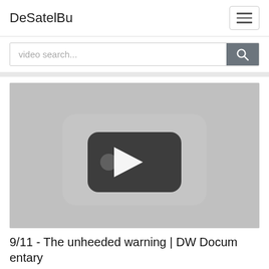DeSatelBu
video search...
[Figure (screenshot): YouTube-style video thumbnail placeholder with a play button icon (dark rounded rectangle with white triangle/play arrow) on a light gray background]
9/11 - The unheeded warning | DW Documentary